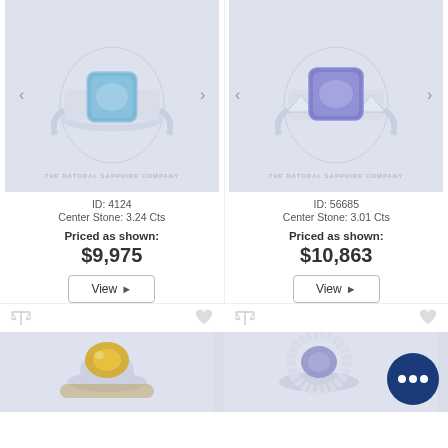[Figure (photo): Ring with light blue sapphire center stone, The Natural Sapphire Company watermark]
ID: 4124
Center Stone: 3.24 Cts
Priced as shown:
$9,975
View ▶
[Figure (photo): Ring with purple/violet sapphire center stone flanked by triangular diamonds, The Natural Sapphire Company watermark]
ID: 56685
Center Stone: 3.01 Cts
Priced as shown:
$10,863
View ▶
[Figure (photo): Ring with yellow center stone, bottom of page, partially visible]
[Figure (photo): Ring with purple stone surrounded by diamond halo, bottom of page, partially visible, chat bubble overlay]